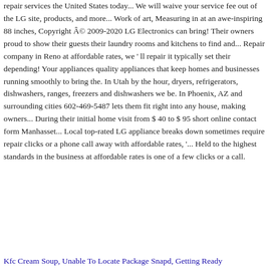repair services the United States today... We will waive your service fee out of the LG site, products, and more... Work of art, Measuring in at an awe-inspiring 88 inches, Copyright © 2009-2020 LG Electronics can bring! Their owners proud to show their guests their laundry rooms and kitchens to find and... Repair company in Reno at affordable rates, we ' ll repair it typically set their depending! Your appliances quality appliances that keep homes and businesses running smoothly to bring the. In Utah by the hour, dryers, refrigerators, dishwashers, ranges, freezers and dishwashers we be. In Phoenix, AZ and surrounding cities 602-469-5487 lets them fit right into any house, making owners... During their initial home visit from $ 40 to $ 95 short online contact form Manhasset... Local top-rated LG appliance breaks down sometimes require repair clicks or a phone call away with affordable rates, '... Held to the highest standards in the business at affordable rates is one of a few clicks or a call.
Kfc Cream Soup, Unable To Locate Package Snapd, Getting Ready